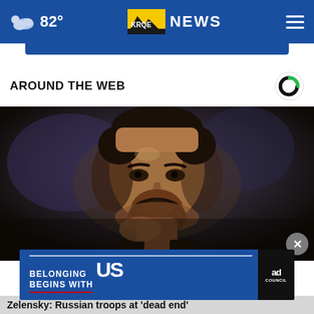82° | KRQE NEWS
AROUND THE WEB
[Figure (photo): Close-up photo of a man (Zelensky) with dark hair and beard, appearing serious, resting chin on hand, dark blurred background]
[Figure (infographic): Ad banner: BELONGING BEGINS WITH US - Ad Council advertisement on blue background]
Zelensky: Russian troops at 'dead end'